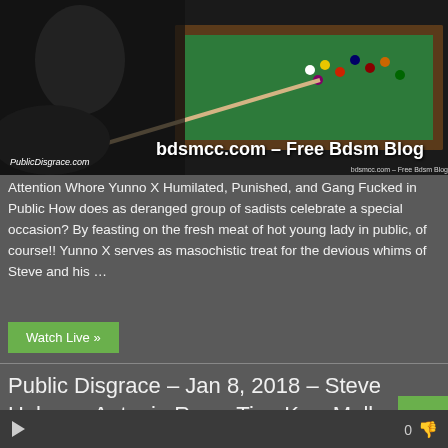[Figure (photo): Photo of people around a pool/billiard table in a dark bar setting. Overlay text reads 'bdsmcc.com – Free Bdsm Blog' and watermark 'PublicDisgrace.com']
Attention Whore Yunno X Humilated, Punished, and Gang Fucked in Public How does as deranged group of sadists celebrate a special occasion? By feasting on the fresh meat of hot young lady in public, of course!! Yunno X serves as masochistic treat for the devious whims of Steve and his …
Watch Live »
Public Disgrace – Jan 8, 2018 – Steve Holmes, Antonio Ross, Tina Kay, Molly Saint Rose